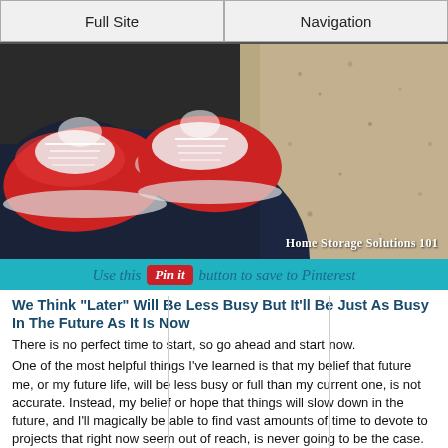Full Site | Navigation
[Figure (photo): Close-up photo of red sneakers/Converse shoes from above, with the wearer's jeans visible and a sandy/concrete ground surface. Watermark reads: Home Storage Solutions 101]
Use this [Pin it] button to save to Pinterest
We Think "Later" Will Be Less Busy But It'll Be Just As Busy In The Future As It Is Now
There is no perfect time to start, so go ahead and start now.
One of the most helpful things I've learned is that my belief that future me, or my future life, will be less busy or full than my current one, is not accurate. Instead, my belief or hope that things will slow down in the future, and I'll magically be able to find vast amounts of time to devote to projects that right now seem out of reach, is never going to be the case. Instead, it'll never be easier in the future, you'll always be busy.
This site uses cookies, some of which are required for its operation. Privacy policy.
Agree and Continue